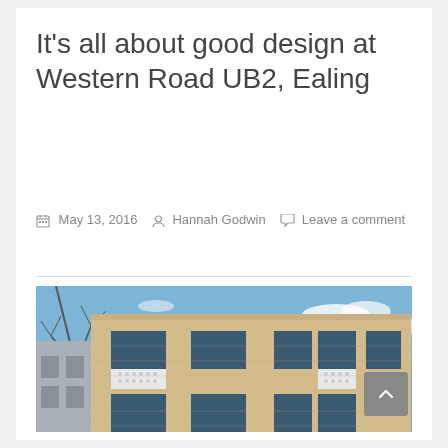It's all about good design at Western Road UB2, Ealing
May 13, 2016  Hannah Godwin  Leave a comment
[Figure (photo): Exterior photograph of a modern brick residential building at Western Road UB2, Ealing. The building is 3-4 storeys, light beige brick, with large rectangular windows and decorative white perforated balcony panels. Blue sky background with sparse clouds and bare tree branches visible on the left.]